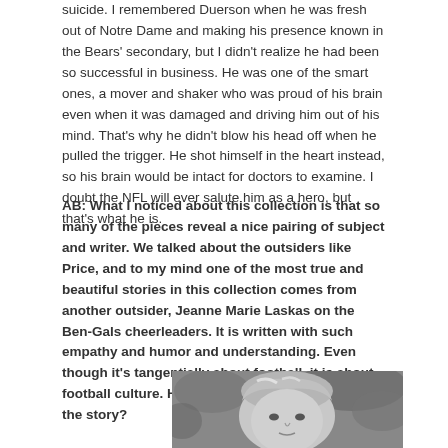suicide. I remembered Duerson when he was fresh out of Notre Dame and making his presence known in the Bears' secondary, but I didn't realize he had been so successful in business. He was one of the smart ones, a mover and shaker who was proud of his brain even when it was damaged and driving him out of his mind. That's why he didn't blow his head off when he pulled the trigger. He shot himself in the heart instead, so his brain would be intact for doctors to examine. I doubt the NFL will ever salute him as a hero, but that's what he is.
AB: What I noticed about this collection is that so many of the pieces reveal a nice pairing of subject and writer. We talked about the outsiders like Price, and to my mind one of the most true and beautiful stories in this collection comes from another outsider, Jeanne Marie Laskas on the Ben-Gals cheerleaders. It is written with such empathy and humor and understanding. Even though it's tangentially about football, it is about football culture. How did you first come to read the story?
[Figure (photo): Black and white portrait photo of a woman with short blonde highlighted hair, looking slightly to the side, with foliage in the background.]